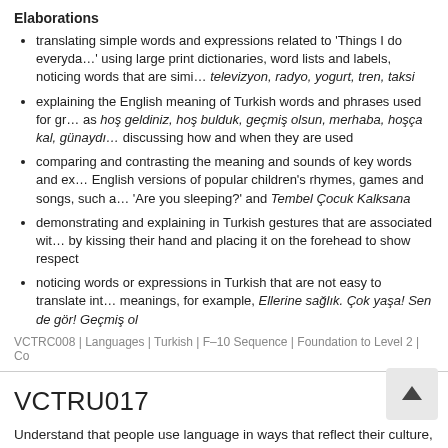Elaborations
translating simple words and expressions related to 'Things I do everyday' using large print dictionaries, word lists and labels, noticing words that are similar, such as televizyon, radyo, yogurt, tren, taksi
explaining the English meaning of Turkish words and phrases used for greetings, such as hoş geldiniz, hoş bulduk, geçmiş olsun, merhaba, hoşça kal, günaydın, discussing how and when they are used
comparing and contrasting the meaning and sounds of key words and expressions in English versions of popular children's rhymes, games and songs, such as 'Are you sleeping?' and Tembel Çocuk Kalksana
demonstrating and explaining in Turkish gestures that are associated with, such as by kissing their hand and placing it on the forehead to show respect
noticing words or expressions in Turkish that are not easy to translate into English meanings, for example, Ellerine sağlık. Çok yaşa! Sen de gör! Geçmiş ol
VCTRC008 | Languages | Turkish | F–10 Sequence | Foundation to Level 2 | Co
VCTRU017
Understand that people use language in ways that reflect their culture, such as important to them
Elaborations
exploring the meaning of 'culture', how it involves visible elements such as and invisible elements, such as ways of thinking and valuing